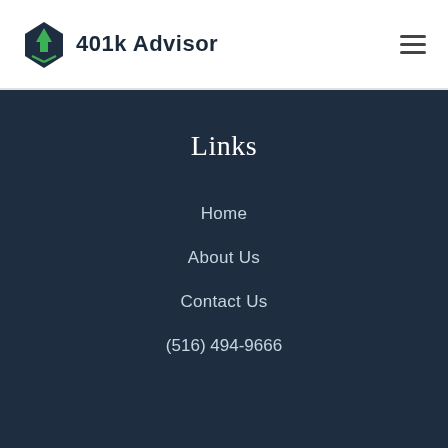401k Advisor
Links
Home
About Us
Contact Us
(516) 494-9666